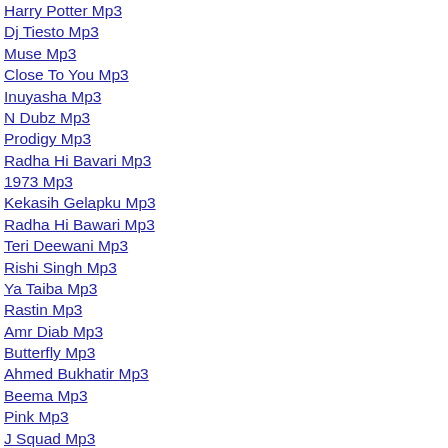Harry Potter Mp3
Dj Tiesto Mp3
Muse Mp3
Close To You Mp3
Inuyasha Mp3
N Dubz Mp3
Prodigy Mp3
Radha Hi Bavari Mp3
1973 Mp3
Kekasih Gelapku Mp3
Radha Hi Bawari Mp3
Teri Deewani Mp3
Rishi Singh Mp3
Ya Taiba Mp3
Rastin Mp3
Amr Diab Mp3
Butterfly Mp3
Ahmed Bukhatir Mp3
Beema Mp3
Pink Mp3
J Squad Mp3
Last Of The Mohicans Mp3
Smack That Mp3
My Heart Will Go On Mp3
Hilary Duff Mp3
Sutta Mp3